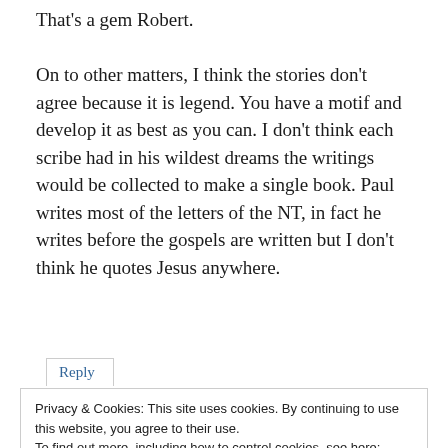That's a gem Robert.

On to other matters, I think the stories don't agree because it is legend. You have a motif and develop it as best as you can. I don't think each scribe had in his wildest dreams the writings would be collected to make a single book. Paul writes most of the letters of the NT, in fact he writes before the gospels are written but I don't think he quotes Jesus anywhere.
Reply
Privacy & Cookies: This site uses cookies. By continuing to use this website, you agree to their use.
To find out more, including how to control cookies, see here:
Cookie Policy
Close and accept